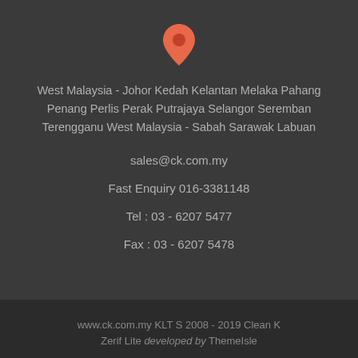[Figure (illustration): Orange/coral map location pin icon]
West Malaysia - Johor Kedah Kelantan Melaka Pahang Penang Perlis Perak Putrajaya Selangor Seremban Terengganu West Malaysia - Sabah Sarawak Labuan
sales@ck.com.my
Fast Enquiry 016-3381148
Tel : 03 - 6207 5477
Fax : 03 - 6207 5478
www.ck.com.my KLT S 2008 - 2019 Clean K Zerif Lite developed by ThemeIsle